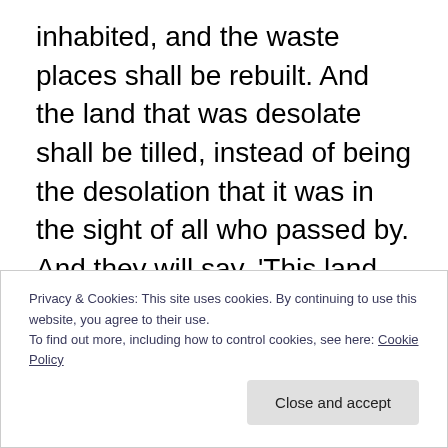inhabited, and the waste places shall be rebuilt. And the land that was desolate shall be tilled, instead of being the desolation that it was in the sight of all who passed by. And they will say, 'This land that was desolate has become like the Garden of Eden, and the waste and desolate and ruined cities are now fortified and inhabited. Then the nations that are left all around you shall know that I am the LORD; I have rebuilt the ruined places and replanted that which was desolate. I am the LORD; I have spoken, and I will do it. Thus says the Lord G-D: This also I will let the house of Israel ask me to do for them: to increase their
Privacy & Cookies: This site uses cookies. By continuing to use this website, you agree to their use.
To find out more, including how to control cookies, see here: Cookie Policy
Close and accept